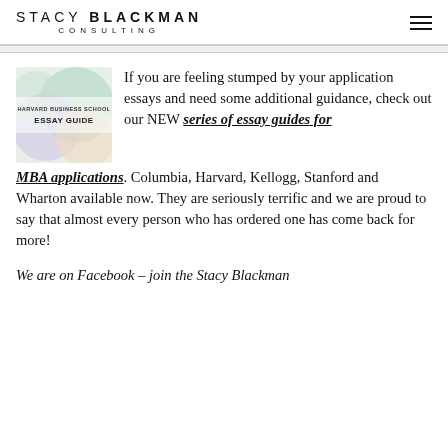STACY BLACKMAN CONSULTING
[Figure (illustration): Harvard Business School Essay Guide book cover with colorful abstract circles on light background]
If you are feeling stumped by your application essays and need some additional guidance, check out our NEW series of essay guides for MBA applications. Columbia, Harvard, Kellogg, Stanford and Wharton available now. They are seriously terrific and we are proud to say that almost every person who has ordered one has come back for more!
We are on Facebook – join the Stacy Blackman